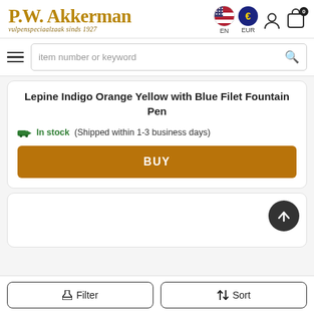[Figure (logo): P.W. Akkerman logo with tagline 'vulpenspeciaalzaak sinds 1927' in gold serif font]
[Figure (screenshot): Navigation header with EN language selector (US flag), EUR currency selector (blue circle with euro sign), user account icon, and shopping cart icon with 0 badge]
[Figure (screenshot): Search bar with hamburger menu icon on left and magnifying glass icon on right, placeholder text 'item number or keyword']
Lepine Indigo Orange Yellow with Blue Filet Fountain Pen
In stock (Shipped within 1-3 business days)
BUY
[Figure (screenshot): Partial second product card with a dark circular scroll-to-top button with upward arrow]
Filter
Sort